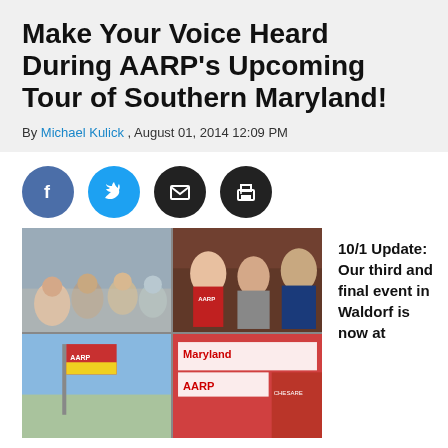Make Your Voice Heard During AARP's Upcoming Tour of Southern Maryland!
By Michael Kulick , August 01, 2014 12:09 PM
[Figure (infographic): Social sharing buttons: Facebook (blue circle with 'f'), Twitter (cyan circle with bird icon), Email (black circle with envelope icon), Print (black circle with printer icon)]
[Figure (photo): Grid of four photos: top-left shows audience seated at AARP event, top-right shows three people smiling including one in red AARP shirt, bottom-left shows AARP flag/banner outdoors, bottom-right shows Maryland AARP banner/signage]
10/1 Update: Our third and final event in Waldorf is now at